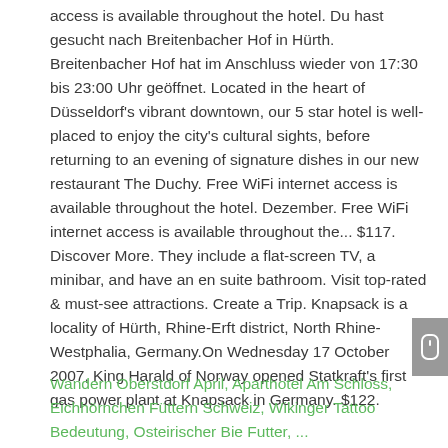access is available throughout the hotel. Du hast gesucht nach Breitenbacher Hof in Hürth. Breitenbacher Hof hat im Anschluss wieder von 17:30 bis 23:00 Uhr geöffnet. Located in the heart of Düsseldorf's vibrant downtown, our 5 star hotel is well-placed to enjoy the city's cultural sights, before returning to an evening of signature dishes in our new restaurant The Duchy. Free WiFi internet access is available throughout the hotel. Dezember. Free WiFi internet access is available throughout the... $117. Discover More. They include a flat-screen TV, a minibar, and have an en suite bathroom. Visit top-rated & must-see attractions. Create a Trip. Knapsack is a locality of Hürth, Rhine-Erft district, North Rhine-Westphalia, Germany.On Wednesday 17 October 2007, King Harald of Norway opened Statkraft's first gas power plant at Knapsack in Germany. $122.
Wandern Oberstdorf April, Aparthotel Am Schloss, Eichhörnchen Füttern Schweiz, Wikinger Tattoo Bedeutung, Osteirischer Bie Futter, ...